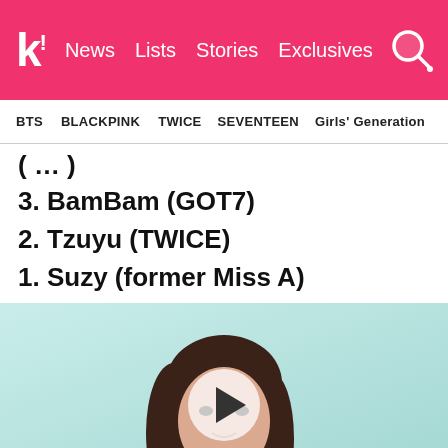k! News Lists Stories Exclusives
BTS BLACKPINK TWICE SEVENTEEN Girls' Generation
(cut off)
3. BamBam (GOT7)
2. Tzuyu (TWICE)
1. Suzy (former Miss A)
[Figure (photo): Photo of Suzy (former Miss A) with a video play button overlay, against a light teal/mint background]